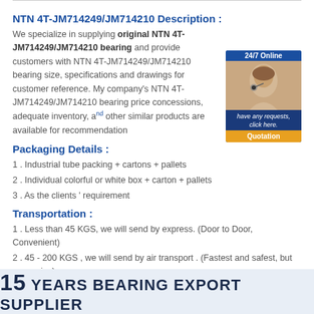NTN 4T-JM714249/JM714210 Description :
We specialize in supplying original NTN 4T-JM714249/JM714210 bearing and provide customers with NTN 4T-JM714249/JM714210 bearing size, specifications and drawings for customer reference. My company's NTN 4T-JM714249/JM714210 bearing price concessions, adequate inventory, and other similar products are available for recommendation
[Figure (photo): Customer service representative with headset, 24/7 Online banner, Quotation button]
Packaging Details :
1 . Industrial tube packing + cartons + pallets
2 . Individual colorful or white box + carton + pallets
3 . As the clients ' requirement
Transportation :
1 . Less than 45 KGS, we will send by express. (Door to Door, Convenient)
2 . 45 - 200 KGS , we will send by air transport . (Fastest and safest, but expensive)
3 . More than 200 KGS, we will send by sea . ( Cheapest and common use )
15 YEARS BEARING EXPORT SUPPLIER